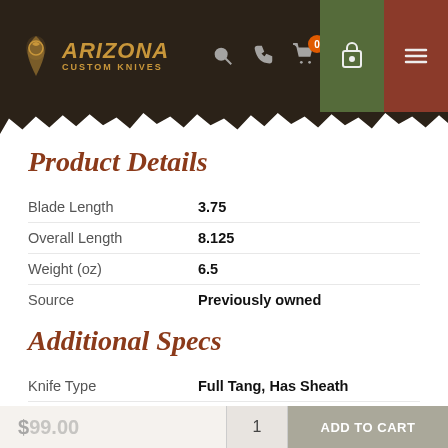[Figure (screenshot): Arizona Custom Knives website header with logo, search, phone, cart (0 items) icons, padlock icon (green background), and hamburger menu icon (red-brown background)]
Product Details
| Blade Length | 3.75 |
| Overall Length | 8.125 |
| Weight (oz) | 6.5 |
| Source | Previously owned |
Additional Specs
| Knife Type | Full Tang, Has Sheath |
| Blade Material | M390 |
| Blade Details | Has Serrations, Tanto |
| Handle Material | G10 |
| Other Details | Tactical |